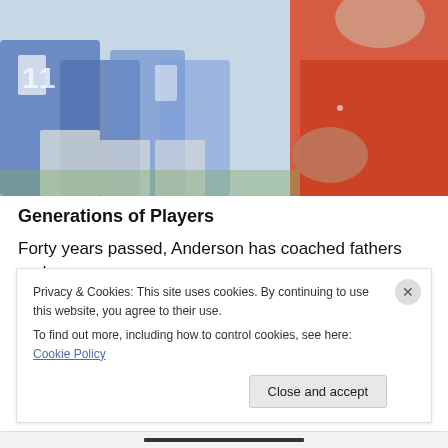[Figure (photo): A football coach in a red/orange polo shirt viewed from behind/side, with players in blue uniforms blurred in the background on a football field.]
Generations of Players
Forty years passed, Anderson has coached fathers and
Privacy & Cookies: This site uses cookies. By continuing to use this website, you agree to their use.
To find out more, including how to control cookies, see here: Cookie Policy
Close and accept